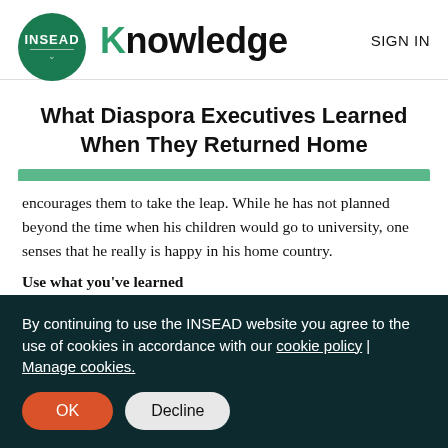[Figure (logo): INSEAD Knowledge logo with green circle and bold text]
What Diaspora Executives Learned When They Returned Home
encourages them to take the leap. While he has not planned beyond the time when his children would go to university, one senses that he really is happy in his home country.
Use what you've learned
[truncated body text line]
By continuing to use the INSEAD website you agree to the use of cookies in accordance with our cookie policy | Manage cookies.